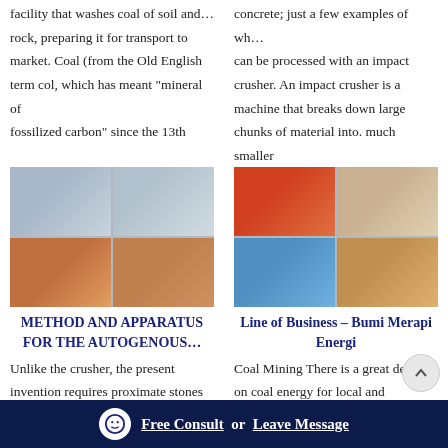facility that washes coal of soil and… rock, preparing it for transport to market. Coal (from the Old English term col, which has meant "mineral of fossilized carbon" since the 13th
concrete; just a few examples of wh… can be processed with an impact crusher. An impact crusher is a machine that breaks down large chunks of material into. much smaller
[Figure (photo): Grid of four photos showing mining/crushing equipment and machinery, conveyor belts and excavators at a quarry or mining site.]
[Figure (photo): Grid of four photos showing impact crushers and mining equipment, including orange/red machinery and industrial processing equipment.]
METHOD AND APPARATUS FOR THE AUTOGENOUS…
Line of Business – Bumi Merapi Energi
Unlike the crusher, the present invention requires proximate stones … chunks to sequentially reciprocate in a large mass in which stone rupturing
Coal Mining There is a great demand on coal energy for local and aboard… industries and power plant. For anticipating that demand, PT. Bumi
Free Consult or Leave Message